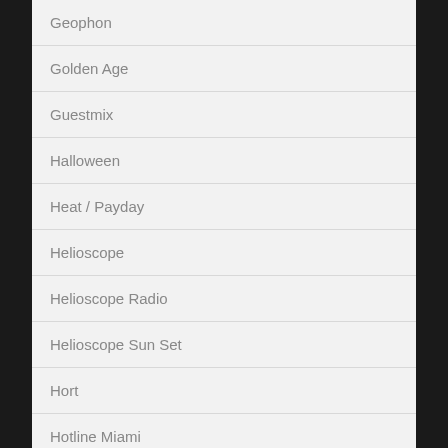Geophon
Golden Age
Guestmix
Halloween
Heat / Payday
Helioscope
Helioscope Radio
Helioscope Sun Set
Hort
Hotline Miami